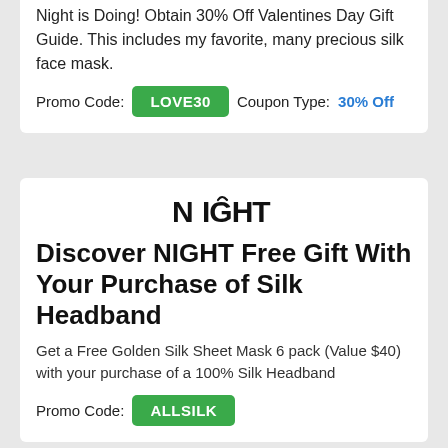Night is Doing! Obtain 30% Off Valentines Day Gift Guide. This includes my favorite, many precious silk face mask.
Promo Code: LOVE30   Coupon Type: 30% Off
[Figure (logo): NIGHT brand logo with stylized N and arc]
Discover NIGHT Free Gift With Your Purchase of Silk Headband
Get a Free Golden Silk Sheet Mask 6 pack (Value $40) with your purchase of a 100% Silk Headband
Promo Code: ALLSILK